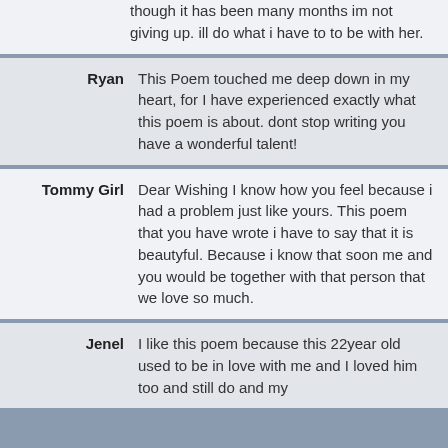though it has been many months im not giving up. ill do what i have to to be with her.
Ryan: This Poem touched me deep down in my heart, for I have experienced exactly what this poem is about. dont stop writing you have a wonderful talent!
Tommy Girl: Dear Wishing I know how you feel because i had a problem just like yours. This poem that you have wrote i have to say that it is beautyful. Because i know that soon me and you would be together with that person that we love so much.
Jenel: I like this poem because this 22year old used to be in love with me and I loved him too and still do and my